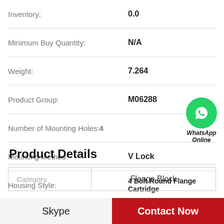| Property | Value |
| --- | --- |
| Inventory: | 0.0 |
| Minimum Buy Quantity: | N/A |
| Weight: | 7.264 |
| Product Group: | M06288 |
| Number of Mounting Holes: | 4 |
| Mounting Method: | V Lock |
| Housing Style: | 4 Bolt Round Flange Cartridge |
Product Details
| Category |  |
| --- | --- |
| Category | Flange Block |
Skype
Contact Now
[Figure (logo): WhatsApp Online green circle with phone icon and text 'WhatsApp Online']